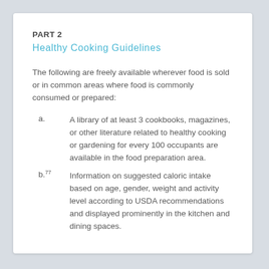PART 2
Healthy Cooking Guidelines
The following are freely available wherever food is sold or in common areas where food is commonly consumed or prepared:
A library of at least 3 cookbooks, magazines, or other literature related to healthy cooking or gardening for every 100 occupants are available in the food preparation area.
Information on suggested caloric intake based on age, gender, weight and activity level according to USDA recommendations and displayed prominently in the kitchen and dining spaces.